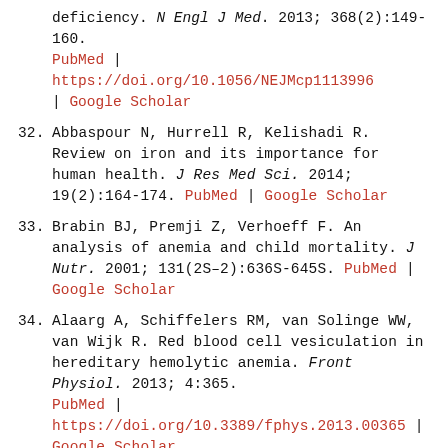(continuation) deficiency. N Engl J Med. 2013; 368(2):149-160. PubMed | https://doi.org/10.1056/NEJMcp1113996 | Google Scholar
32. Abbaspour N, Hurrell R, Kelishadi R. Review on iron and its importance for human health. J Res Med Sci. 2014; 19(2):164-174. PubMed | Google Scholar
33. Brabin BJ, Premji Z, Verhoeff F. An analysis of anemia and child mortality. J Nutr. 2001; 131(2S-2):636S-645S. PubMed | Google Scholar
34. Alaarg A, Schiffelers RM, van Solinge WW, van Wijk R. Red blood cell vesiculation in hereditary hemolytic anemia. Front Physiol. 2013; 4:365. PubMed | https://doi.org/10.3389/fphys.2013.00365 | Google Scholar
35. Placke T, Faber K, Nonami A. Requirement for CDK6 in MLL-rearranged acute myeloid